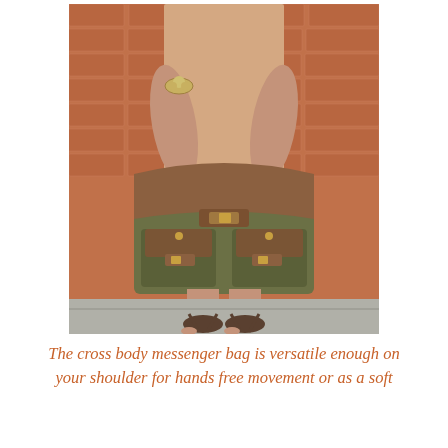[Figure (photo): A woman holding an olive green canvas messenger bag with brown leather accents and gold buckles, wearing a beige dress and lace-up sandals, standing in front of a red brick wall.]
The cross body messenger bag is versatile enough on your shoulder for hands free movement or as a soft